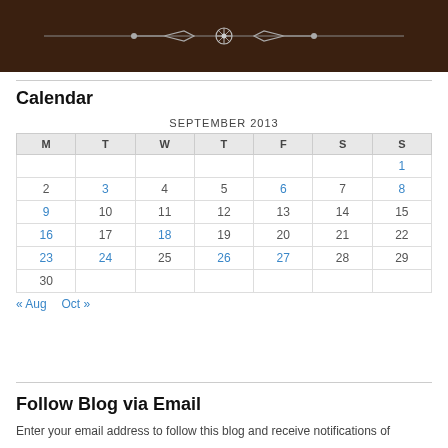[Figure (illustration): Dark brown ornamental banner with decorative floral/snowflake divider element on a horizontal line]
Calendar
| M | T | W | T | F | S | S |
| --- | --- | --- | --- | --- | --- | --- |
|  |  |  |  |  |  | 1 |
| 2 | 3 | 4 | 5 | 6 | 7 | 8 |
| 9 | 10 | 11 | 12 | 13 | 14 | 15 |
| 16 | 17 | 18 | 19 | 20 | 21 | 22 |
| 23 | 24 | 25 | 26 | 27 | 28 | 29 |
| 30 |  |  |  |  |  |  |
« Aug   Oct »
Follow Blog via Email
Enter your email address to follow this blog and receive notifications of